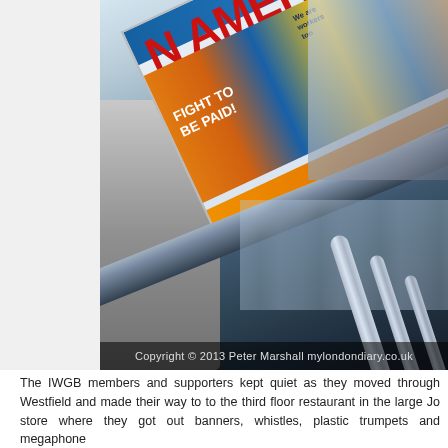[Figure (photo): Photo of people on an escalator in a large shopping mall (Westfield), carrying a large banner reading 'AMERICAN WORKERS'. The banner is colorful with illustrations of workers. The escalator has chrome/glass handrails. Copyright watermark reads: Copyright © 2013 Peter Marshall mylondondiary.co.uk]
The IWGB members and supporters kept quiet as they moved through Westfield and made their way to to the third floor restaurant in the large Jo store where they got out banners, whistles, plastic trumpets and megaphone